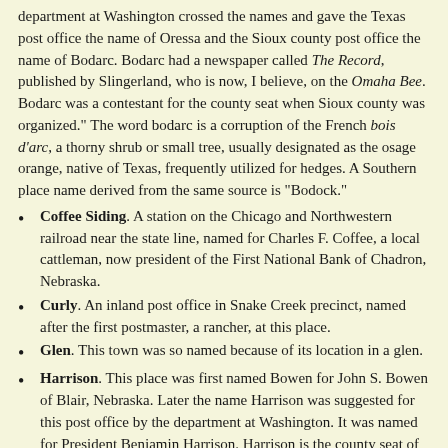department at Washington crossed the names and gave the Texas post office the name of Oressa and the Sioux county post office the name of Bodarc. Bodarc had a newspaper called The Record, published by Slingerland, who is now, I believe, on the Omaha Bee. Bodarc was a contestant for the county seat when Sioux county was organized." The word bodarc is a corruption of the French bois d'arc, a thorny shrub or small tree, usually designated as the osage orange, native of Texas, frequently utilized for hedges. A Southern place name derived from the same source is "Bodock."
Coffee Siding. A station on the Chicago and Northwestern railroad near the state line, named for Charles F. Coffee, a local cattleman, now president of the First National Bank of Chadron, Nebraska.
Curly. An inland post office in Snake Creek precinct, named after the first postmaster, a rancher, at this place.
Glen. This town was so named because of its location in a glen.
Harrison. This place was first named Bowen for John S. Bowen of Blair, Nebraska. Later the name Harrison was suggested for this post office by the department at Washington. It was named for President Benjamin Harrison. Harrison is the county seat of Sioux county.
Kelley. This office is located in Sheep Creek precinct. It was named after Mattie A. Kelly, the postmistress.